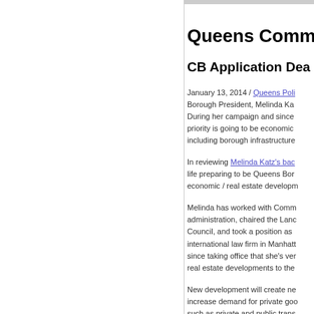Queens Comm...
CB Application Dea...
January 13, 2014 / Queens Poli... Borough President, Melinda Ka... During her campaign and since... priority is going to be economic... including borough infrastructure...
In reviewing Melinda Katz's bac... life preparing to be Queens Bor... economic / real estate developm...
Melinda has worked with Comm... administration, chaired the Lan... Council, and took a position as ... international law firm in Manhatt... since taking office that she's ver... real estate developments to the...
New development will create ne... increase demand for private go... such as private and public tran... schools. Hence, there are a wid... taken into account as new deve...
Community Boards are the pri...